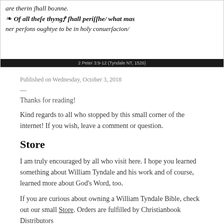[Figure (photo): Scanned page of blackletter text from Tyndale NT 1526, showing old English scripture text. Black bar at bottom with caption '2 Peter 3:9-12 (Tyndale NT, 1526)']
Published on Wednesday, October 3, 2018
—
Thanks for reading!
Kind regards to all who stopped by this small corner of the internet! If you wish, leave a comment or question.
Store
I am truly encouraged by all who visit here. I hope you learned something about William Tyndale and his work and of course, learned more about God's Word, too.
If you are curious about owning a William Tyndale Bible, check out our small Store. Orders are fulfilled by Christianbook Distributors